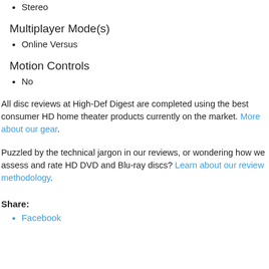Stereo
Multiplayer Mode(s)
Online Versus
Motion Controls
No
All disc reviews at High-Def Digest are completed using the best consumer HD home theater products currently on the market. More about our gear.
Puzzled by the technical jargon in our reviews, or wondering how we assess and rate HD DVD and Blu-ray discs? Learn about our review methodology.
Share:
Facebook